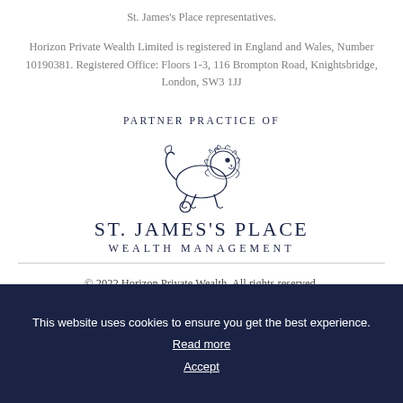St. James's Place representatives.
Horizon Private Wealth Limited is registered in England and Wales, Number 10190381. Registered Office: Floors 1-3, 116 Brompton Road, Knightsbridge, London, SW3 1JJ
PARTNER PRACTICE OF
[Figure (logo): St. James's Place Wealth Management lion logo with text ST. JAMES'S PLACE WEALTH MANAGEMENT]
© 2022 Horizon Private Wealth. All rights reserved.
This website uses cookies to ensure you get the best experience. Read more Accept